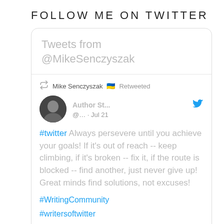FOLLOW ME ON TWITTER
[Figure (screenshot): Twitter widget showing tweets from @MikeSenczyszak. Contains a retweet by Mike Senczyszak of Author St... dated Jul 21, with tweet text: #twitter Always persevere until you achieve your goals! If it's out of reach -- keep climbing, if it's broken -- fix it, if the route is blocked -- find another, just never give up! Great minds find solutions, not excuses! #WritingCommunity #writersoftwitter #AuthorsOfTwitter]